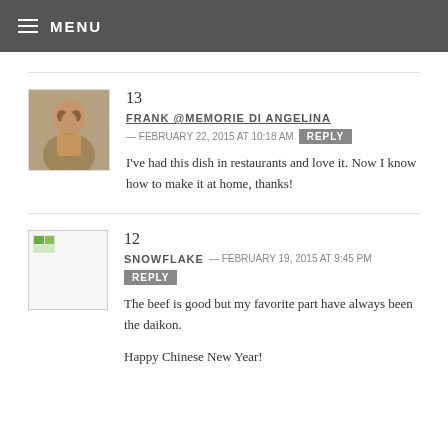MENU
13
FRANK @MEMORIE DI ANGELINA — FEBRUARY 22, 2015 AT 10:18 AM REPLY
I've had this dish in restaurants and love it. Now I know how to make it at home, thanks!
12
SNOWFLAKE — FEBRUARY 19, 2015 AT 9:45 PM REPLY
The beef is good but my favorite part have always been the daikon.

Happy Chinese New Year!